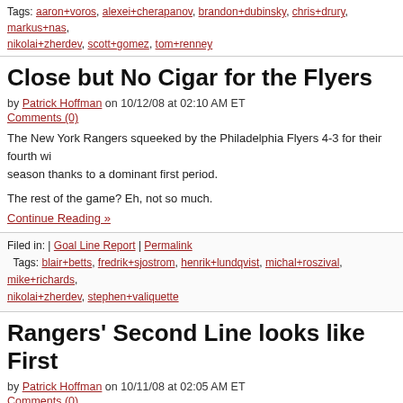Tags: aaron+voros, alexei+cherapanov, brandon+dubinsky, chris+drury, markus+nas, nikolai+zherdev, scott+gomez, tom+renney
Close but No Cigar for the Flyers
by Patrick Hoffman on 10/12/08 at 02:10 AM ET
Comments (0)
The New York Rangers squeeked by the Philadelphia Flyers 4-3 for their fourth win season thanks to a dominant first period.
The rest of the game? Eh, not so much.
Continue Reading »
Filed in: | Goal Line Report | Permalink
Tags: blair+betts, fredrik+sjostrom, henrik+lundqvist, michal+roszival, mike+richards, nikolai+zherdev, stephen+valiquette
Rangers' Second Line looks like First
by Patrick Hoffman on 10/11/08 at 02:05 AM ET
Comments (0)
Instead of relying on their first line to do all the goal scoring, the New York Rangers out of their four goals from the second line.
“I certainly liked that line tonight, as I’m sure every Rangers fan did,” Rangers hea